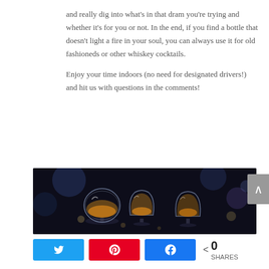and really dig into what's in that dram you're trying and whether it's for you or not. In the end, if you find a bottle that doesn't light a fire in your soul, you can always use it for old fashioneds or other whiskey cocktails.

Enjoy your time indoors (no need for designated drivers!) and hit us with questions in the comments!
[Figure (photo): Dark atmospheric photo of three whiskey/brandy glasses filled with amber liquid, shot against a dark background with bokeh lighting effects]